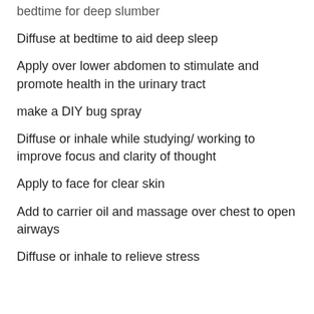bedtime for deep slumber
Diffuse at bedtime to aid deep sleep
Apply over lower abdomen to stimulate and promote health in the urinary tract
make a DIY bug spray
Diffuse or inhale while studying/ working to improve focus and clarity of thought
Apply to face for clear skin
Add to carrier oil and massage over chest to open airways
Diffuse or inhale to relieve stress